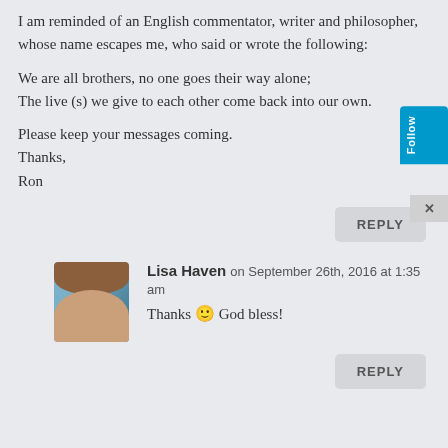I am reminded of an English commentator, writer and philosopher, whose name escapes me, who said or wrote the following:
We are all brothers, no one goes their way alone;
The live (s) we give to each other come back into our own.
Please keep your messages coming.
Thanks,
Ron
REPLY
[Figure (photo): Avatar photo of Lisa Haven, a woman with brown hair]
Lisa Haven on September 26th, 2016 at 1:35 am
Thanks 🙂 God bless!
REPLY